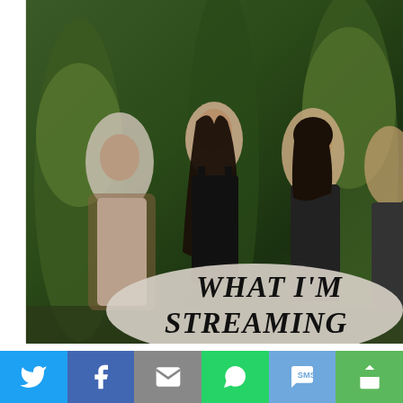[Figure (photo): Promotional TV show photo showing four young people (three men, one woman) standing in a mossy forest setting. The woman is centered in a black tank top with long dark hair. A semi-transparent oval badge overlaid on the lower portion reads 'WHAT I'M STREAMING' in bold serif italic text.]
Momma Told Me: Don't believe everything,
[Figure (infographic): Social media share bar at the bottom with six buttons: Twitter (blue), Facebook (dark blue), Email (gray), WhatsApp (green), SMS (light blue), Copy/share (green).]